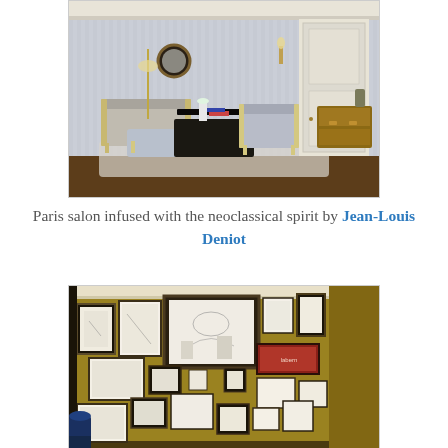[Figure (photo): A Parisian salon interior decorated in neoclassical style. The room features light blue-grey striped wallpaper, white ornate molding on the ceiling and walls, a pair of Louis XVI-style armchairs with gilt frames, a dark coffee table, a footstool, and a wooden commode. A circular convex mirror and wall sconces decorate the walls.]
Paris salon infused with the neoclassical spirit by Jean-Louis Deniot
[Figure (photo): A room with mustard-yellow walls covered in a gallery-style arrangement of framed artworks — drawings, prints, and paintings of various sizes — displayed in a salon-style hang. The frames are mostly white or dark. A blue lamp shade is visible in the lower left corner.]